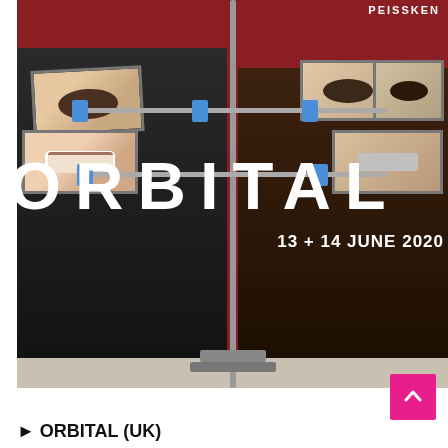[Figure (photo): Promotional photo for Orbital (UK) showing two men with smartphones mounted on a laboratory stand obscuring their faces, against a dark red/burgundy background. Large white 'ORBITAL' text overlaid on the image with date '13 + 14 JUNE 2020'. 'PEISSKEN' text visible at top right.]
▶ ORBITAL (UK)